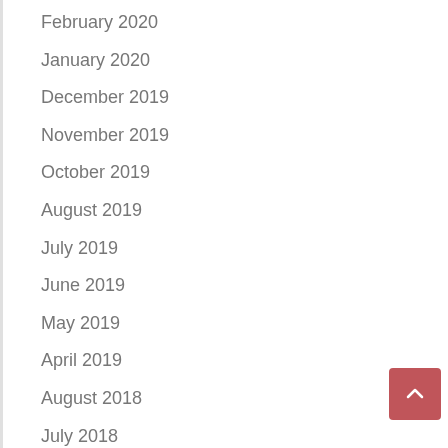February 2020
January 2020
December 2019
November 2019
October 2019
August 2019
July 2019
June 2019
May 2019
April 2019
August 2018
July 2018
June 2018
May 2018
March 2018
December 2017
November 2017
July 2017